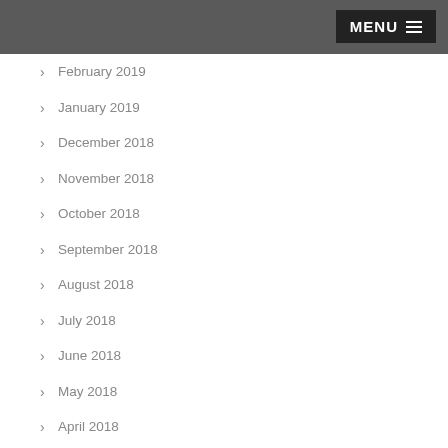MENU
February 2019
January 2019
December 2018
November 2018
October 2018
September 2018
August 2018
July 2018
June 2018
May 2018
April 2018
March 2018
February 2018